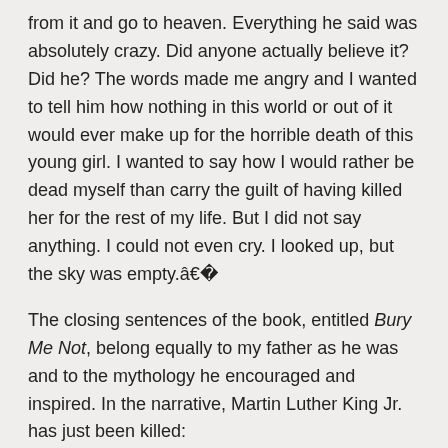from it and go to heaven. Everything he said was absolutely crazy. Did anyone actually believe it? Did he? The words made me angry and I wanted to tell him how nothing in this world or out of it would ever make up for the horrible death of this young girl. I wanted to say how I would rather be dead myself than carry the guilt of having killed her for the rest of my life. But I did not say anything. I could not even cry. I looked up, but the sky was empty.â€
The closing sentences of the book, entitled Bury Me Not, belong equally to my father as he was and to the mythology he encouraged and inspired. In the narrative, Martin Luther King Jr. has just been killed:
â€œI was alone the night of his death, because I did not want to be with my new white friends, the Yankees, and I did not have the right to be with my new black friends. I